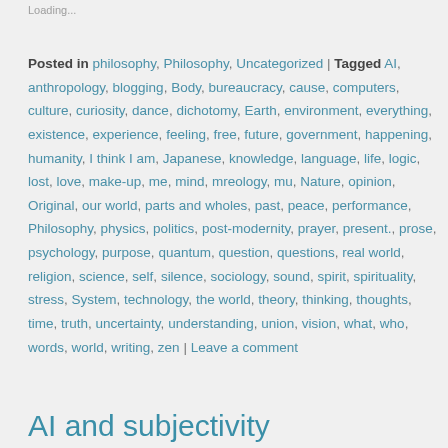Loading...
Posted in philosophy, Philosophy, Uncategorized | Tagged AI, anthropology, blogging, Body, bureaucracy, cause, computers, culture, curiosity, dance, dichotomy, Earth, environment, everything, existence, experience, feeling, free, future, government, happening, humanity, I think I am, Japanese, knowledge, language, life, logic, lost, love, make-up, me, mind, mreology, mu, Nature, opinion, Original, our world, parts and wholes, past, peace, performance, Philosophy, physics, politics, post-modernity, prayer, present., prose, psychology, purpose, quantum, question, questions, real world, religion, science, self, silence, sociology, sound, spirit, spirituality, stress, System, technology, the world, theory, thinking, thoughts, time, truth, uncertainty, understanding, union, vision, what, who, words, world, writing, zen | Leave a comment
AI and subjectivity